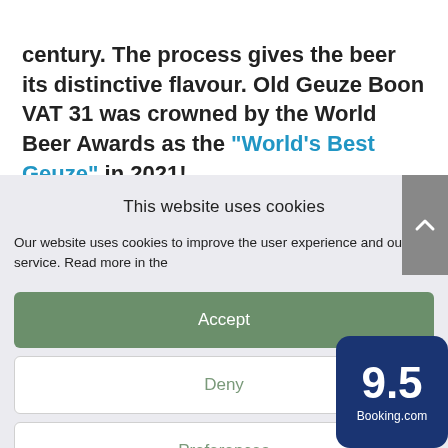century. The process gives the beer its distinctive flavour. Old Geuze Boon VAT 31 was crowned by the World Beer Awards as the "World's Best Geuze" in 2021!
This website uses cookies
Our website uses cookies to improve the user experience and our service. Read more in the
[Figure (screenshot): Accept button (green), Deny button (white/outlined), Preferences button (white/outlined) — cookie consent dialog]
[Figure (logo): Booking.com badge showing score 9.5 on dark blue background]